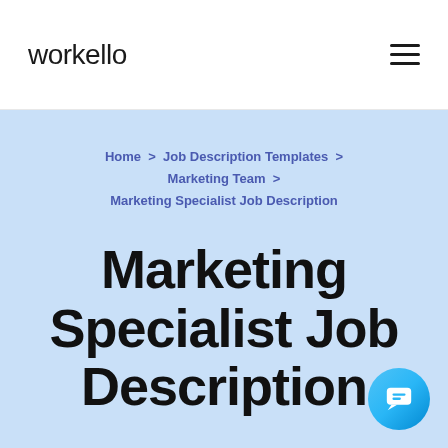workello
Home > Job Description Templates > Marketing Team > Marketing Specialist Job Description
Marketing Specialist Job Description